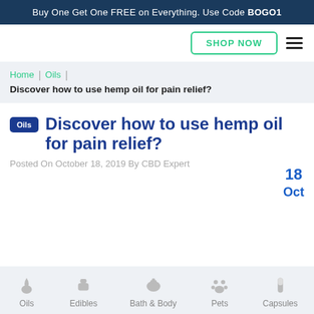Buy One Get One FREE on Everything. Use Code BOGO1
SHOP NOW
Home | Oils | Discover how to use hemp oil for pain relief?
Discover how to use hemp oil for pain relief?
Posted On October 18, 2019 By CBD Expert
18 Oct
Oils | Edibles | Bath & Body | Pets | Capsules